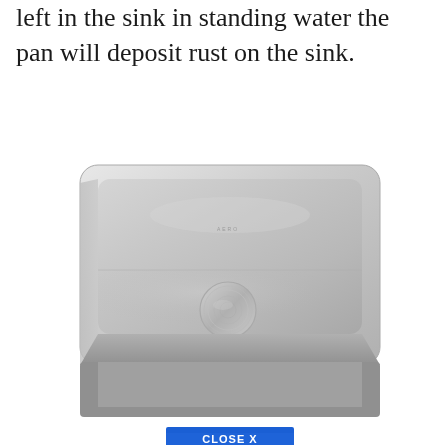left in the sink in standing water the pan will deposit rust on the sink.
[Figure (photo): Overhead view of a stainless steel undermount kitchen sink with rounded corners, brushed finish, and a circular drain cover in the center. A blue 'CLOSE X' button is visible at the bottom center of the image.]